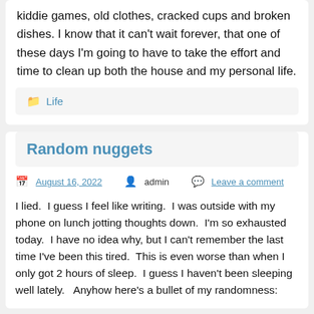kiddie games, old clothes, cracked cups and broken dishes. I know that it can't wait forever, that one of these days I'm going to have to take the effort and time to clean up both the house and my personal life.
Life
Random nuggets
August 16, 2022  admin  Leave a comment
I lied.  I guess I feel like writing.  I was outside with my phone on lunch jotting thoughts down.  I'm so exhausted today.  I have no idea why, but I can't remember the last time I've been this tired.  This is even worse than when I only got 2 hours of sleep.  I guess I haven't been sleeping well lately.   Anyhow here's a bullet of my randomness: